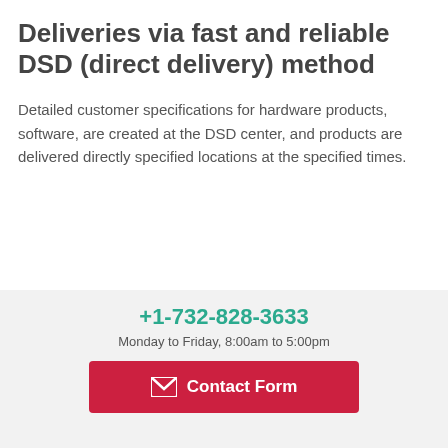Deliveries via fast and reliable DSD (direct delivery) method
Detailed customer specifications for hardware products, software, are created at the DSD center, and products are delivered directly specified locations at the specified times.
Working toward paperless visit reports
+1-732-828-3633
Monday to Friday, 8:00am to 5:00pm
Contact Form